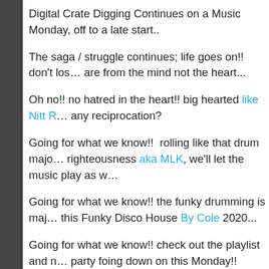Digital Crate Digging Continues on a Music Monday, off to a late start..
The saga / struggle continues; life goes on!! don't los… are from the mind not the heart...
Oh no!! no hatred in the heart!! big hearted like Nitt R… any reciprocation?
Going for what we know!!  rolling like that drum majo… righteousness aka MLK, we'll let the music play as w…
Going for what we know!! the funky drumming is maj… this Funky Disco House By Cole 2020...
Going for what we know!! check out the playlist and n… party foing down on this Monday!!